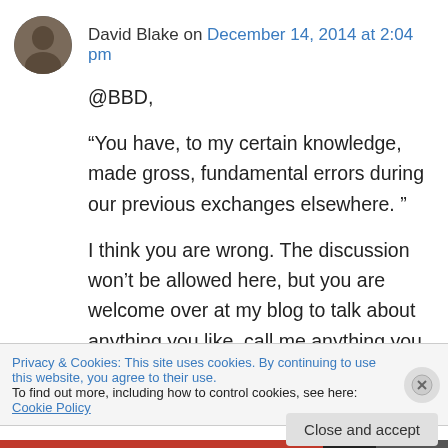David Blake on December 14, 2014 at 2:04 pm
@BBD,
“You have, to my certain knowledge, made gross, fundamental errors during our previous exchanges elsewhere. ”
I think you are wrong. The discussion won’t be allowed here, but you are welcome over at my blog to talk about anything you like, call me anything you like – and I’ll return the favour.
Privacy & Cookies: This site uses cookies. By continuing to use this website, you agree to their use.
To find out more, including how to control cookies, see here: Cookie Policy
Close and accept